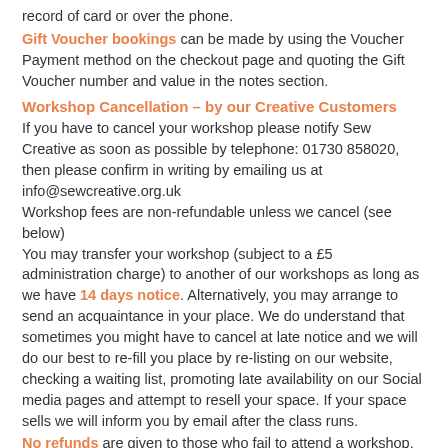record of card or over the phone.
Gift Voucher bookings can be made by using the Voucher Payment method on the checkout page and quoting the Gift Voucher number and value in the notes section.
Workshop Cancellation – by our Creative Customers
If you have to cancel your workshop please notify Sew Creative as soon as possible by telephone: 01730 858020, then please confirm in writing by emailing us at info@sewcreative.org.uk
Workshop fees are non-refundable unless we cancel (see below)
You may transfer your workshop (subject to a £5 administration charge) to another of our workshops as long as we have 14 days notice. Alternatively, you may arrange to send an acquaintance in your place. We do understand that sometimes you might have to cancel at late notice and we will do our best to re-fill you place by re-listing on our website, checking a waiting list, promoting late availability on our Social media pages and attempt to resell your space. If your space sells we will inform you by email after the class runs.
No refunds are given to those who fail to attend a workshop.
Workshop Cancellation – by Sew Creative
We will endeavour to run every published workshop, however there may be times, due to impracticalities, sickness or other unforeseen circumstances that we will cancel the workshop. In these instances you